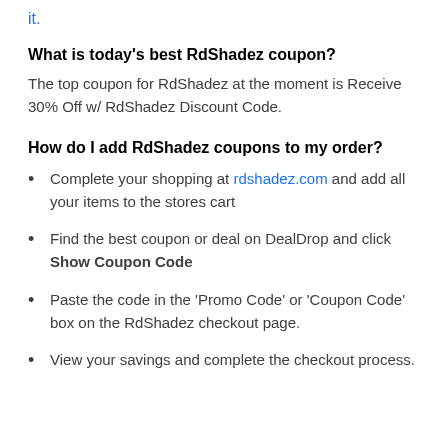it.
What is today's best RdShadez coupon?
The top coupon for RdShadez at the moment is Receive 30% Off w/ RdShadez Discount Code.
How do I add RdShadez coupons to my order?
Complete your shopping at rdshadez.com and add all your items to the stores cart
Find the best coupon or deal on DealDrop and click Show Coupon Code
Paste the code in the 'Promo Code' or 'Coupon Code' box on the RdShadez checkout page.
View your savings and complete the checkout process.